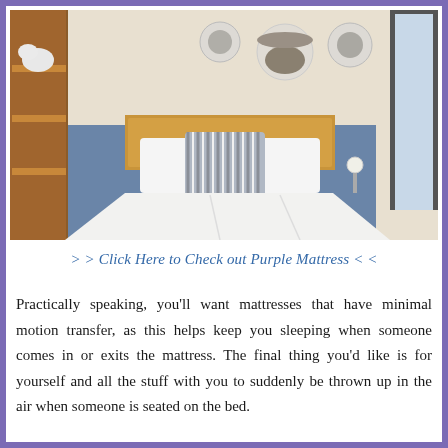[Figure (photo): A bedroom with a white bed, wooden headboard, blue accent wall, striped decorative pillow, wall-mounted hats as decor, wooden shelving unit on the left, and a window on the right.]
> > Click Here to Check out Purple Mattress < <
Practically speaking, you'll want mattresses that have minimal motion transfer, as this helps keep you sleeping when someone comes in or exits the mattress. The final thing you'd like is for yourself and all the stuff with you to suddenly be thrown up in the air when someone is seated on the bed.